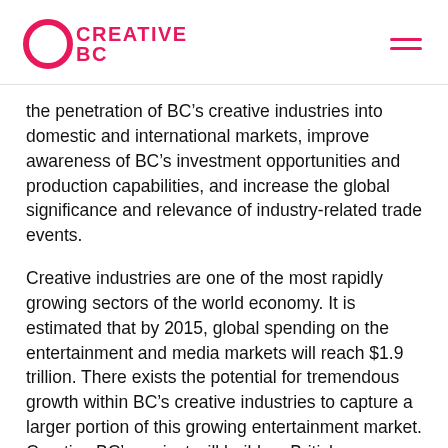Creative BC
the penetration of BC’s creative industries into domestic and international markets, improve awareness of BC’s investment opportunities and production capabilities, and increase the global significance and relevance of industry-related trade events.
Creative industries are one of the most rapidly growing sectors of the world economy. It is estimated that by 2015, global spending on the entertainment and media markets will reach $1.9 trillion. There exists the potential for tremendous growth within BC’s creative industries to capture a larger portion of this growing entertainment market. Creative BC’s project will build on British Columbia’s